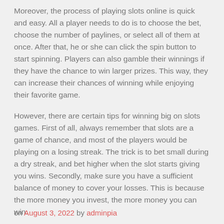Moreover, the process of playing slots online is quick and easy. All a player needs to do is to choose the bet, choose the number of paylines, or select all of them at once. After that, he or she can click the spin button to start spinning. Players can also gamble their winnings if they have the chance to win larger prizes. This way, they can increase their chances of winning while enjoying their favorite game.
However, there are certain tips for winning big on slots games. First of all, always remember that slots are a game of chance, and most of the players would be playing on a losing streak. The trick is to bet small during a dry streak, and bet higher when the slot starts giving you wins. Secondly, make sure you have a sufficient balance of money to cover your losses. This is because the more money you invest, the more money you can win.
on August 3, 2022 by adminpia